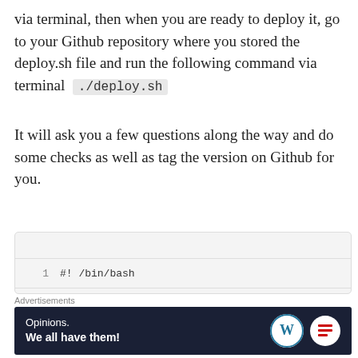via terminal, then when you are ready to deploy it, go to your Github repository where you stored the deploy.sh file and run the following command via terminal ./deploy.sh
It will ask you a few questions along the way and do some checks as well as tag the version on Github for you.
[Figure (screenshot): Code block showing lines 1-5 of a bash script: line 1: #! /bin/bash, line 2: # A modification of Dean Clatworthy's deploy scri..., line 3: # The difference is that this script lives in the..., line 4: (empty), line 5: # main config]
Advertisements
[Figure (infographic): Advertisement banner: dark navy background with text 'Opinions. We all have them!' alongside WordPress and another logo.]